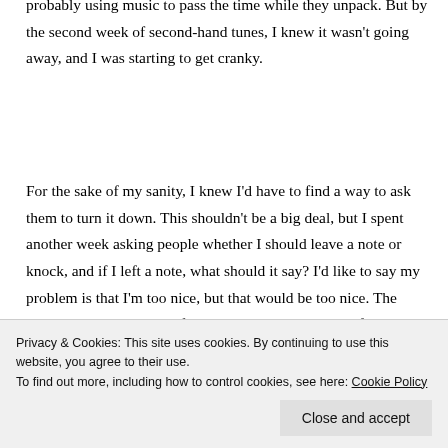probably using music to pass the time while they unpack. But by the second week of second-hand tunes, I knew it wasn't going away, and I was starting to get cranky.
For the sake of my sanity, I knew I'd have to find a way to ask them to turn it down. This shouldn't be a big deal, but I spent another week asking people whether I should leave a note or knock, and if I left a note, what should it say? I'd like to say my problem is that I'm too nice, but that would be too nice. The bottom line is, I hate confrontation. And maybe, I'm afraid people won't like me. Besides, given that I was dealing with people I've never met, there was the
Privacy & Cookies: This site uses cookies. By continuing to use this website, you agree to their use.
To find out more, including how to control cookies, see here: Cookie Policy
Close and accept